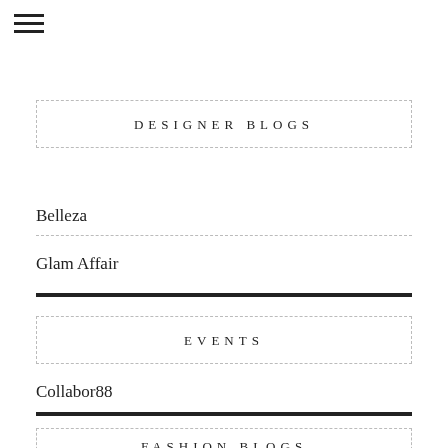[Figure (other): Hamburger menu icon (three horizontal lines)]
DESIGNER BLOGS
Belleza
Glam Affair
EVENTS
Collabor88
FASHION BLOGS